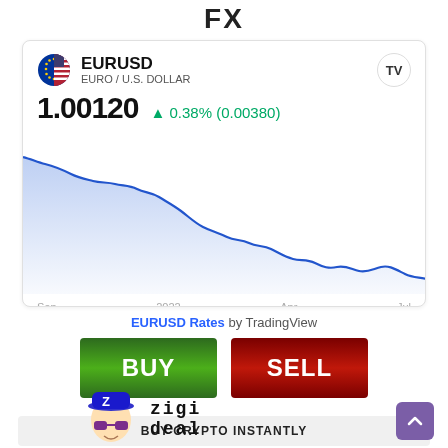FX
[Figure (line-chart): EURUSD line chart showing price declining from ~1.12 in Sep 2021 to ~1.001 in Jul 2022]
1.00120   ^ 0.38% (0.00380)
EURUSD Rates by TradingView
[Figure (infographic): BUY button (green) and SELL button (red)]
BUY CRYPTO INSTANTLY
[Figure (illustration): Zigi deal mascot logo with text 'zigi deal']